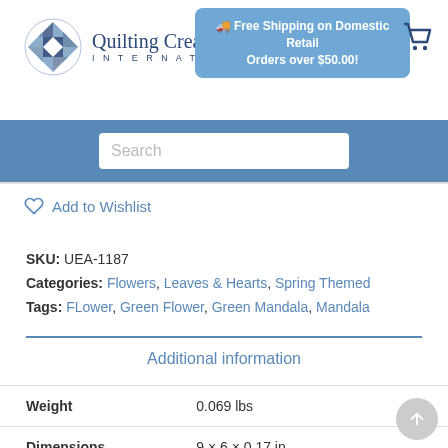Quilting Creations INTERNATIONAL
Free Shipping on Domestic Retail Orders over $50.00!
Search
Add to Wishlist
SKU: UEA-1187
Categories: Flowers, Leaves & Hearts, Spring Themed
Tags: FLower, Green Flower, Green Mandala, Mandala
Additional information
|  |  |
| --- | --- |
| Weight | 0.069 lbs |
| Dimensions | 9 × 6 × 0.17 in |